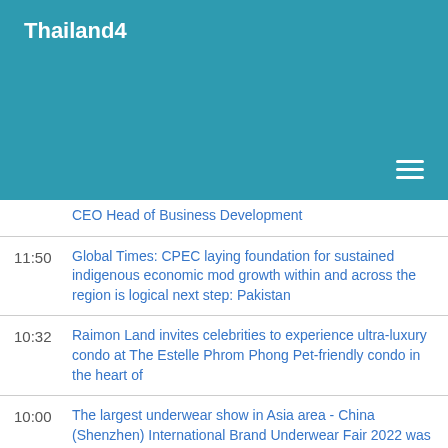Thailand4
CEO Head of Business Development
11:50 – Global Times: CPEC laying foundation for sustained indigenous economic mod growth within and across the region is logical next step: Pakistan
10:32 – Raimon Land invites celebrities to experience ultra-luxury condo at The Estelle Phrom Phong Pet-friendly condo in the heart of
10:00 – The largest underwear show in Asia area - China (Shenzhen) International Brand Underwear Fair 2022 was held on 10-12th